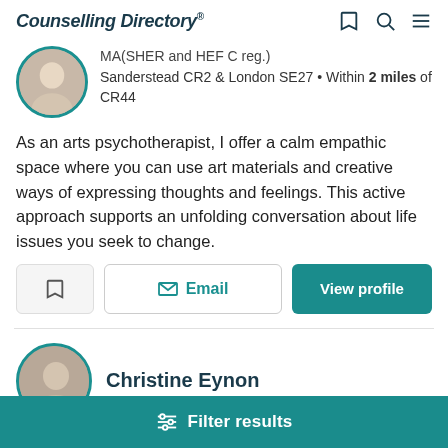Counselling Directory
MA(SHER and HEF C reg.)
Sanderstead CR2 & London SE27 • Within 2 miles of CR44
As an arts psychotherapist, I offer a calm empathic space where you can use art materials and creative ways of expressing thoughts and feelings. This active approach supports an unfolding conversation about life issues you seek to change.
Email
View profile
Christine Eynon
Filter results